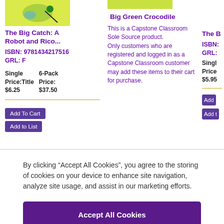[Figure (illustration): Book cover image - yellow background with bird illustration for 'The Big Catch: A Robot and Rico...']
The Big Catch: A Robot and Rico...
ISBN: 9781434217516
GRL: F
| Single Price:Title | 6-Pack Price: |
| --- | --- |
| $6.25 | $37.50 |
Add To Cart
Add to List
[Figure (illustration): Book cover image - green background for 'Big Green Crocodile']
Big Green Crocodile
This is a Capstone Classroom Sole Source product. Only customers who are registered and logged in as a Capstone Classroom customer may add these items to their cart for purchase.
The B...
ISBN:
GRL:
Single
Price:
$5.95...
Add...
Add t...
By clicking “Accept All Cookies”, you agree to the storing of cookies on your device to enhance site navigation, analyze site usage, and assist in our marketing efforts.
Accept All Cookies
Cookies Settings